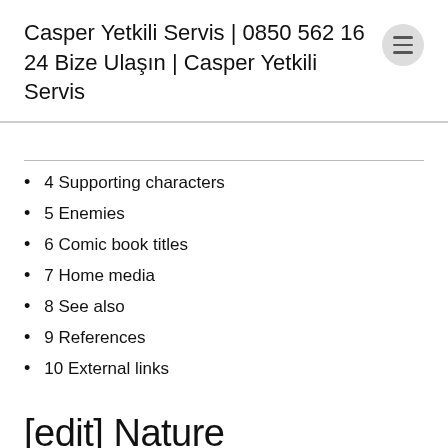Casper Yetkili Servis | 0850 562 16 24 Bize Ulaşın | Casper Yetkili Servis
4 Supporting characters
5 Enemies
6 Comic book titles
7 Home media
8 See also
9 References
10 External links
[edit] Nature
Given that Casper is depicted as a ghostly, portly little boy, there is a controversy among fans of the